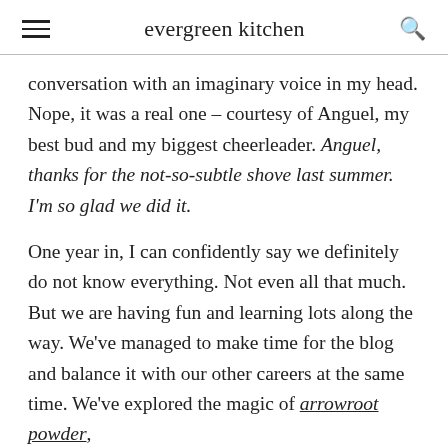evergreen kitchen
conversation with an imaginary voice in my head. Nope, it was a real one – courtesy of Anguel, my best bud and my biggest cheerleader. Anguel, thanks for the not-so-subtle shove last summer. I'm so glad we did it.
One year in, I can confidently say we definitely do not know everything. Not even all that much. But we are having fun and learning lots along the way. We've managed to make time for the blog and balance it with our other careers at the same time. We've explored the magic of arrowroot powder,